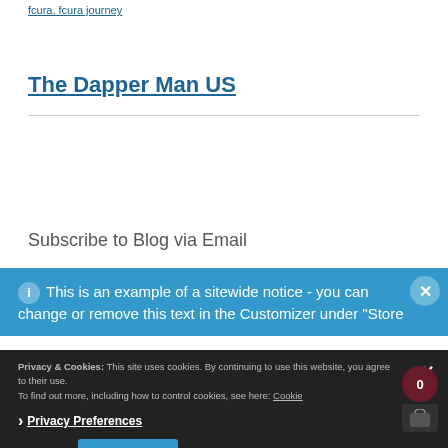fcura, fcura journey
The Dapper Man US
Subscribe to Blog via Email
This is an example of a sitewide notice - you can change or remove this text in the Customizer under "Store
Privacy & Cookies: This site uses cookies. By continuing to use this website, you agree to their use. To find out more, including how to control cookies, see here: Cookie
Privacy Preferences
I Agree
Close and ac...